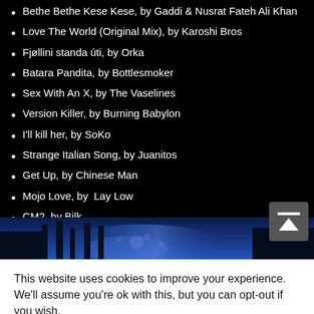Bethe Bethe Kese Kese, by Gaddi & Nusrat Fateh Ali Khan
Love The World (Original Mix), by Karoshi Bros
Fjøllini standa úti, by Orka
Batara Pandita, by Bottlesmoker
Sex With An X, by The Vaselines
Version Killer, by Burning Babylon
I'll kill her, by SoKo
Strange Italian Song, by Juanitos
Get Up, by Chinese Man
Mojo Love, by  Lay Low
CM2, by Bilk
Cross the Line Manu, by Dubioza Kolektiv & Manu Chao
[Figure (photo): Blue atmospheric night scene with trees, dark and moody]
This website uses cookies to improve your experience. We'll assume you're ok with this, but you can opt-out if you wish.
Cookie settings  ACCEPT